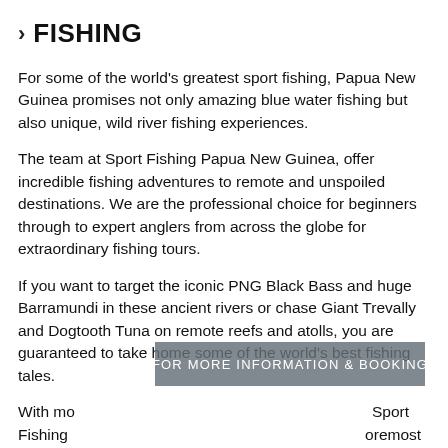> FISHING
For some of the world's greatest sport fishing, Papua New Guinea promises not only amazing blue water fishing but also unique, wild river fishing experiences.
The team at Sport Fishing Papua New Guinea, offer incredible fishing adventures to remote and unspoiled destinations. We are the professional choice for beginners through to expert anglers from across the globe for extraordinary fishing tours.
If you want to target the iconic PNG Black Bass and huge Barramundi in these ancient rivers or chase Giant Trevally and Dogtooth Tuna on remote reefs and atolls, you are guaranteed to take home some of the world's best fishing tales.
With mo... Sport Fishing ...oremost
FOR MORE INFORMATION & BOOKING